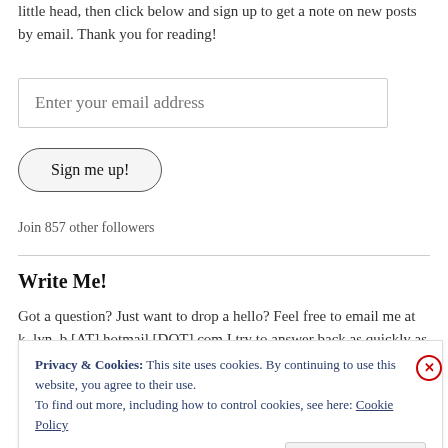little head, then click below and sign up to get a note on new posts by email. Thank you for reading!
Enter your email address
Sign me up!
Join 857 other followers
Write Me!
Got a question? Just want to drop a hello? Feel free to email me at k_lyn_b [AT] hotmail [DOT] com I try to answer back as quickly as I can.
Privacy & Cookies: This site uses cookies. By continuing to use this website, you agree to their use. To find out more, including how to control cookies, see here: Cookie Policy
Close and accept